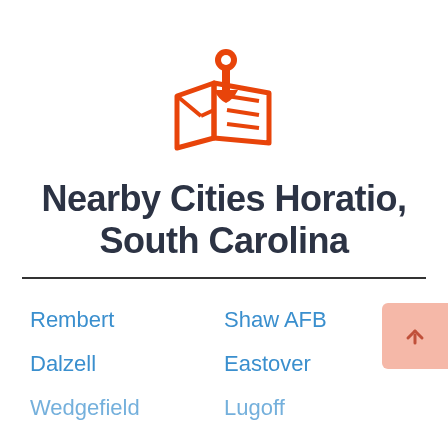[Figure (illustration): Orange map pin / location marker icon with a folded map beneath it]
Nearby Cities Horatio, South Carolina
Rembert
Shaw AFB
Dalzell
Eastover
Wedgefield
Lugoff